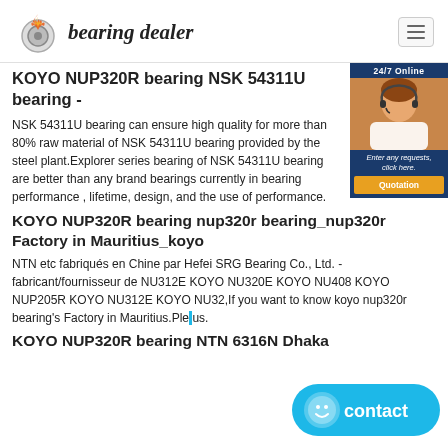bearing dealer
KOYO NUP320R bearing NSK 54311U bearing -
NSK 54311U bearing can ensure high quality for more than 80% raw material of NSK 54311U bearing provided by the steel plant.Explorer series bearing of NSK 54311U bearing are better than any brand bearings currently in bearing performance , lifetime, design, and the use of performance.
KOYO NUP320R bearing nup320r bearing_nup320r Factory in Mauritius_koyo
NTN etc fabriqués en Chine par Hefei SRG Bearing Co., Ltd. - fabricant/fournisseur de NU312E KOYO NU320E KOYO NU408 KOYO NUP205R KOYO NU312E KOYO NU32,If you want to know koyo nup320r bearing's Factory in Mauritius.Ple us.
KOYO NUP320R bearing NTN 6316N Dhaka